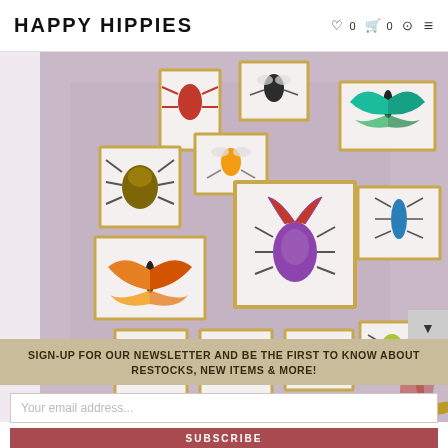HAPPY HIPPIES
[Figure (photo): Wall display of multiple gold-framed boxes containing colorful decorative insects and butterflies (beetles, bees, butterflies, etc.) arranged in a gallery-wall style on a lavender/mauve wall. A vase with dried flowers and a gold butterfly figure are visible in the lower right.]
SIGN-UP FOR OUR NEWSLETTER AND BE THE FIRST TO KNOW ABOUT RESTOCKS, NEW ITEMS & MORE!
Your email address...
SUBSCRIBE